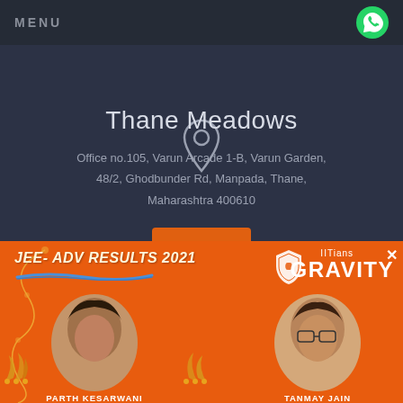MENU
Thane Meadows
Office no.105, Varun Arcade 1-B, Varun Garden, 48/2, Ghodbunder Rd, Manpada, Thane, Maharashtra 400610
[Figure (infographic): JEE-ADV RESULTS 2021 banner from IITians GRAVITY with photos of two students: PARTH KESARWANI and TANMAY JAIN]
JEE- ADV RESULTS 2021
IITians GRAVITY
PARTH KESARWANI
TANMAY JAIN